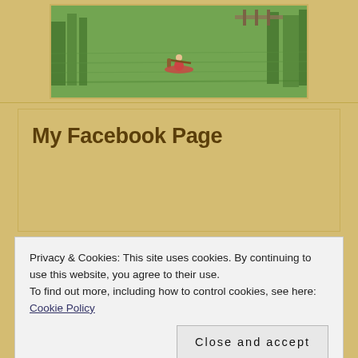[Figure (photo): A person paddling on a reflective green lake or river, with trees and a dock visible in the background.]
My Facebook Page
Privacy & Cookies: This site uses cookies. By continuing to use this website, you agree to their use.
To find out more, including how to control cookies, see here: Cookie Policy
[Figure (photo): Bottom strip showing silhouettes of people or wildlife figures against a tan/golden background.]